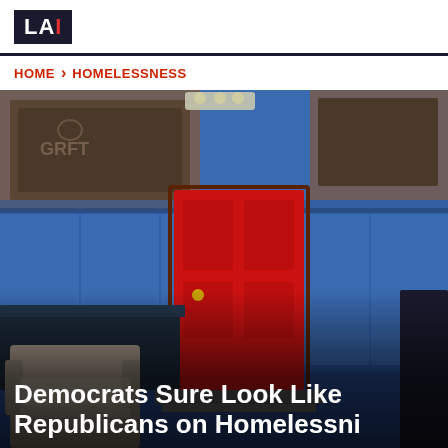LAI
HOME > HOMELESSNESS
[Figure (photo): A blue-painted building exterior with a bright red door, an abandoned upholstered chair in the foreground, and graffiti-covered boarded windows in the background.]
Democrats Sure Look Like Republicans on Homelessness